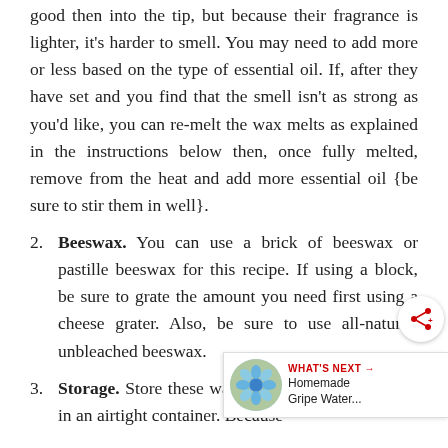good then into the tip, but because their fragrance is lighter, it's harder to smell. You may need to add more or less based on the type of essential oil. If, after they have set and you find that the smell isn't as strong as you'd like, you can re-melt the wax melts as explained in the instructions below then, once fully melted, remove from the heat and add more essential oil {be sure to stir them in well}.
2. Beeswax. You can use a brick of beeswax or pastille beeswax for this recipe. If using a block, be sure to grate the amount you need first using a cheese grater. Also, be sure to use all-natural, unbleached beeswax.
3. Storage. Store these wax melts in a cool, dry area in an airtight container. Because